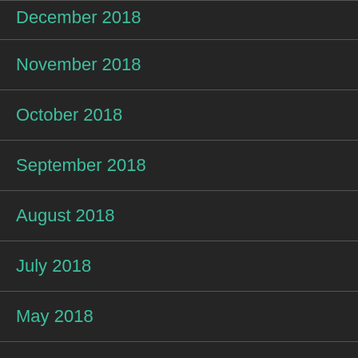December 2018
November 2018
October 2018
September 2018
August 2018
July 2018
May 2018
April 2018
August 2017